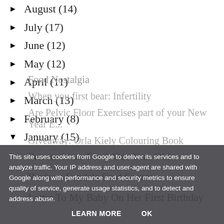► August (14)
► July (17)
► June (12)
► May (12)
► April (11)
► March (13)
► February (8)
▼ January (15)
Present Ideas For A One Year Old
Review: Fundels Card Games
Letter To My Baby On Her First Birthday
Food Nostalgia
When you first bear: Infertility
Are Pelvic Floor Exercises part of your New Year E...
Giveaway: Orla Kiely Colouring Book
This site uses cookies from Google to deliver its services and to analyze traffic. Your IP address and user-agent are shared with Google along with performance and security metrics to ensure quality of service, generate usage statistics, and to detect and address abuse.
LEARN MORE    OK